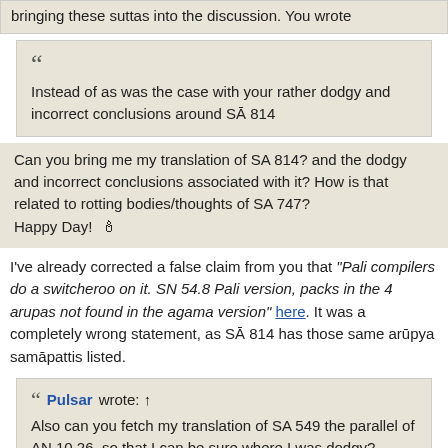bringing these suttas into the discussion. You wrote
Instead of as was the case with your rather dodgy and incorrect conclusions around SĀ 814
Can you bring me my translation of SA 814? and the dodgy and incorrect conclusions associated with it? How is that related to rotting bodies/thoughts of SA 747?
Happy Day! 🕯
I've already corrected a false claim from you that "Pali compilers do a switcheroo on it. SN 54.8 Pali version, packs in the 4 arupas not found in the agama version" here. It was a completely wrong statement, as SĀ 814 has those same arūpya samāpattis listed.
Pulsar wrote: ↑
Also can you fetch my translation of SA 549 the parallel of AN 10.26, so that I can be sure where I was dodgy?
Apologies. This one wasn't a mistranslation of an āgama. Instead, it's a false claim about an āgama. They are linked in that you are either missing (in the case of SA 814 & SA 549) or misinterpreting (as in the case of SA 747) the relevant expansions indicated at the close of the āgama text. This causes you to make false statments about the contents of these